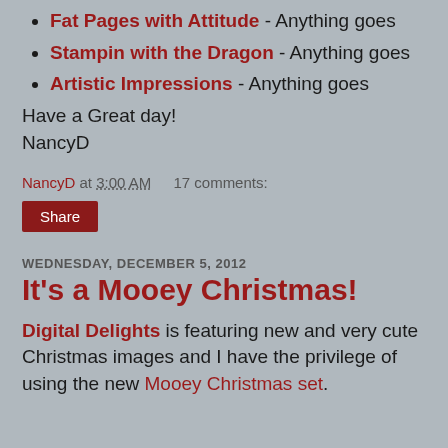Fat Pages with Attitude - Anything goes
Stampin with the Dragon - Anything goes
Artistic Impressions - Anything goes
Have a Great day!
NancyD
NancyD at 3:00 AM    17 comments:
Share
WEDNESDAY, DECEMBER 5, 2012
It's a Mooey Christmas!
Digital Delights is featuring new and very cute Christmas images and I have the privilege of using the new Mooey Christmas set.